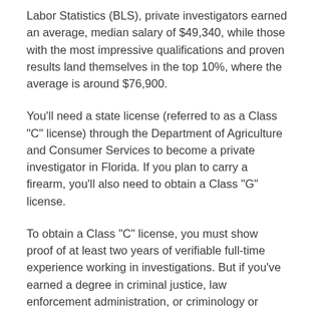Labor Statistics (BLS), private investigators earned an average, median salary of $49,340, while those with the most impressive qualifications and proven results land themselves in the top 10%, where the average is around $76,900.
You'll need a state license (referred to as a Class "C" license) through the Department of Agriculture and Consumer Services to become a private investigator in Florida. If you plan to carry a firearm, you'll also need to obtain a Class "G" license.
To obtain a Class "C" license, you must show proof of at least two years of verifiable full-time experience working in investigations. But if you've earned a degree in criminal justice, law enforcement administration, or criminology or you've completed law enforcement